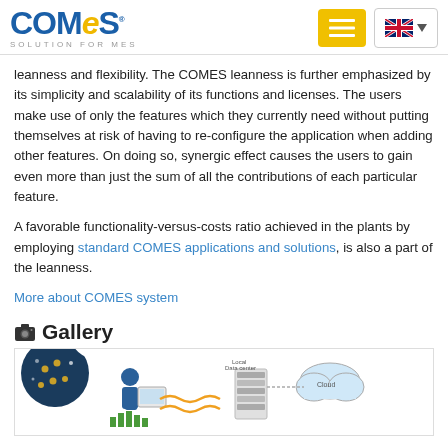COMES SOLUTION FOR MES
leanness and flexibility. The COMES leanness is further emphasized by its simplicity and scalability of its functions and licenses. The users make use of only the features which they currently need without putting themselves at risk of having to re-configure the application when adding other features. On doing so, synergic effect causes the users to gain even more than just the sum of all the contributions of each particular feature.
A favorable functionality-versus-costs ratio achieved in the plants by employing standard COMES applications and solutions, is also a part of the leanness.
More about COMES system
Gallery
[Figure (screenshot): Gallery section showing a cookie consent icon on the left and an infographic depicting a person using a device with cloud/data center diagram on the right]